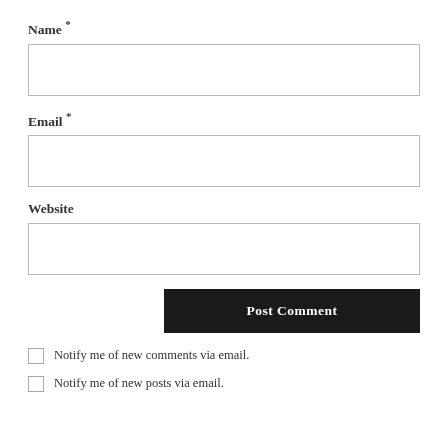Name *
[Figure (other): Empty text input box for Name field]
Email *
[Figure (other): Empty text input box for Email field]
Website
[Figure (other): Empty text input box for Website field]
[Figure (other): Post Comment button, dark background, white bold text]
Notify me of new comments via email.
Notify me of new posts via email.